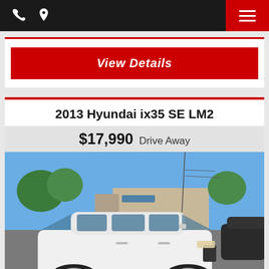Navigation bar with phone icon, location icon, and menu button
View Details
2013 Hyundai ix35 SE LM2
$17,990 Drive Away
[Figure (photo): White 2013 Hyundai ix35 SE LM2 SUV parked in a car dealership lot with other vehicles and trees in the background under a blue sky.]